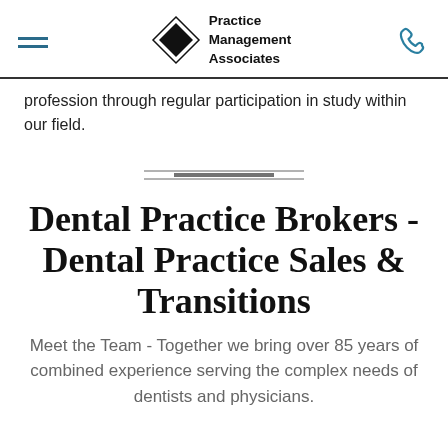Practice Management Associates
profession through regular participation in study within our field.
[Figure (illustration): Decorative horizontal divider with double lines]
Dental Practice Brokers - Dental Practice Sales & Transitions
Meet the Team - Together we bring over 85 years of combined experience serving the complex needs of dentists and physicians.